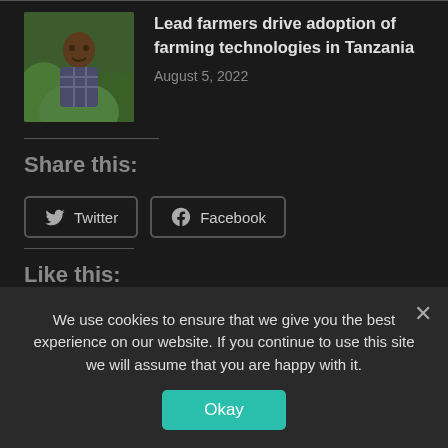[Figure (photo): Thumbnail photo of a person standing in a green field]
Lead farmers drive adoption of farming technologies in Tanzania
August 5, 2022
Share this:
Twitter
Facebook
Like this:
Loading...
CLICK TO VIEW CONTACT PAGE
We use cookies to ensure that we give you the best experience on our website. If you continue to use this site we will assume that you are happy with it.
Okay